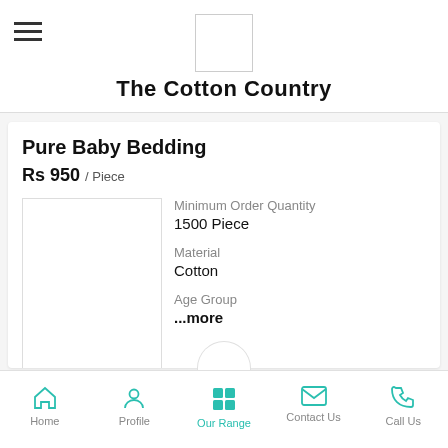The Cotton Country
Pure Baby Bedding
Rs 950 / Piece
[Figure (photo): Product image placeholder box for Pure Baby Bedding]
Minimum Order Quantity
1500 Piece
Material
Cotton
Age Group
...more
Home  Profile  Our Range  Contact Us  Call Us